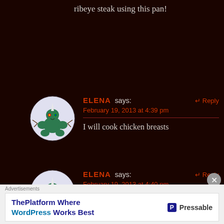ribeye steak using this pan!
ELENA says:
February 19, 2013 at 4:39 pm

I will cook chicken breasts
ELENA says:
February 19, 2013 at 4:40 pm
Advertisements
ThePlatform Where WordPress Works Best | Pressable